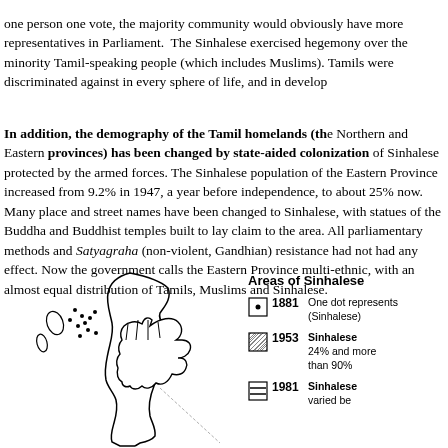one person one vote, the majority community would obviously have more representatives in Parliament. The Sinhalese exercised hegemony over the minority Tamil-speaking people (which includes Muslims). Tamils were discriminated against in every sphere of life, and in development.
In addition, the demography of the Tamil homelands (the Northern and Eastern provinces) has been changed by state-aided colonization of Sinhalese protected by the armed forces. The Sinhalese population of the Eastern Province increased from 9.2% in 1947, a year before independence, to about 25% now. Many place and street names have been changed to Sinhalese, with statues of the Buddha and Buddhist temples built to lay claim to the area. All parliamentary methods and Satyagraha (non-violent, Gandhian) resistance had not had any effect. Now the government calls the Eastern Province multi-ethnic, with an almost equal distribution of Tamils, Muslims and Sinhalese.
[Figure (map): Partial map of Sri Lanka outline showing northern/eastern regions with dots indicating settlement patterns, alongside a legend titled 'Areas of Sinhalese...' with entries for 1881, 1953, and 1981.]